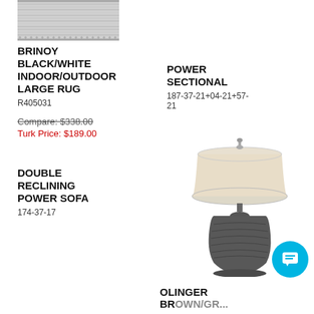[Figure (photo): Brinoy black/white indoor/outdoor rug texture image]
BRINOY BLACK/WHITE INDOOR/OUTDOOR LARGE RUG
R405031
Compare: $338.00
Turk Price: $189.00
POWER SECTIONAL
187-37-21+04-21+57-21
DOUBLE RECLINING POWER SOFA
174-37-17
[Figure (photo): Olinger brown/gray table lamp with textured ceramic base and beige drum shade]
OLINGER BROWN/GRAY...